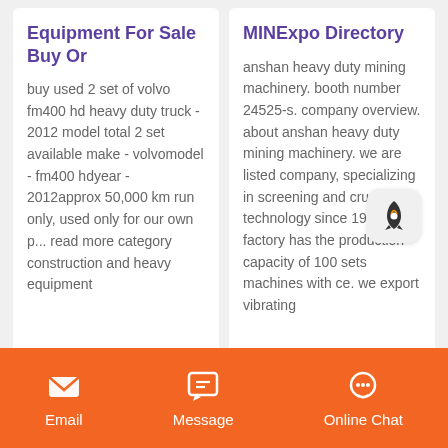Equipment For Sale Buy Or
buy used 2 set of volvo fm400 hd heavy duty truck - 2012 model total 2 set available make - volvomodel - fm400 hdyear - 2012approx 50,000 km run only, used only for our own p... read more category construction and heavy equipment
MINExpo Directory
anshan heavy duty mining machinery. booth number 24525-s. company overview. about anshan heavy duty mining machinery. we are listed company, specializing in screening and crushing technology since 1994. our factory has the production capacity of 100 sets machines with ce. we export vibrating
Email   Message   Online Chat